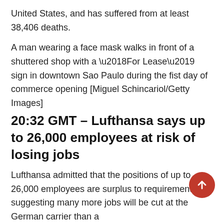United States, and has suffered from at least 38,406 deaths.
A man wearing a face mask walks in front of a shuttered shop with a ‘For Lease’ sign in downtown Sao Paulo during the fist day of commerce opening [Miguel Schincariol/Getty Images]
20:32 GMT – Lufthansa says up to 26,000 employees at risk of losing jobs
Lufthansa admitted that the positions of up to 26,000 employees are surplus to requirements, suggesting many more jobs will be cut at the German carrier than a